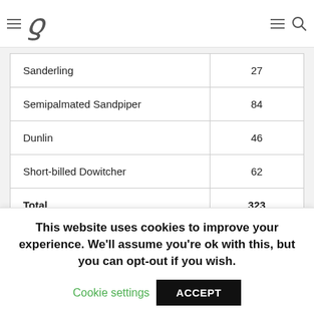[Navigation header with hamburger menu, bird logo, hamburger menu, search icon]
| Species | Count |
| --- | --- |
| Sanderling | 27 |
| Semipalmated Sandpiper | 84 |
| Dunlin | 46 |
| Short-billed Dowitcher | 62 |
| Total | 323 |
The congressional visitors came onshore to see the birds and were blown away by it. When we finished processing we had to move the John Boat which was
This website uses cookies to improve your experience. We'll assume you're ok with this, but you can opt-out if you wish.
Cookie settings  ACCEPT